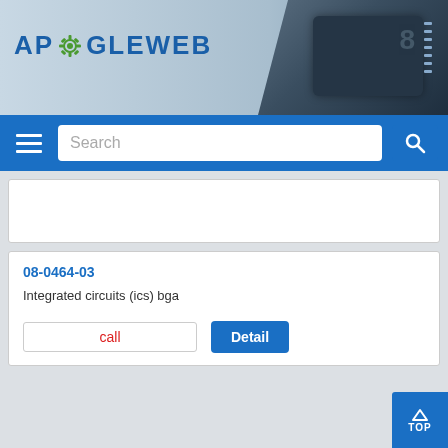[Figure (screenshot): APOGEWEB website header with logo on blue-grey gradient background and microchip image on the right]
[Figure (screenshot): Blue navigation bar with hamburger menu icon, search box showing 'Search' placeholder, and search icon button]
08-0464-03
Integrated circuits (ics) bga
call
Detail